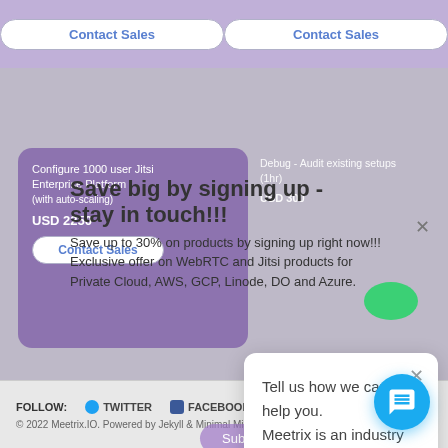[Figure (screenshot): Website page showing pricing cards for Jitsi Enterprise Platform with Contact Sales buttons, overlaid with modal dialogs]
Contact Sales
Contact Sales
Configure 1000 user Jitsi Enterprise Platform (with auto-scaling)
USD 2250
Debug - Audit existing setups (1hr)
USD 300
Save big by signing up -
stay in touch!!!
Save up to 30% on products by signing up right now!!!
Exclusive offer on WebRTC and Jitsi products for
Private Cloud, AWS, GCP, Linode, DO and Azure.
Contact Sales
Tell us how we can help you. Meetrix is an industry leader in WebRTC and Jitsi solutions.
FOLLOW:   TWITTER   FACEBOOK   GITHUB
© 2022 Meetrix.IO. Powered by Jekyll & Minimal Mistakes.